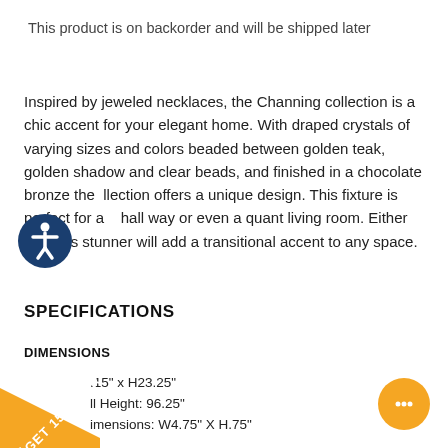This product is on backorder and will be shipped later
Inspired by jeweled necklaces, the Channing collection is a chic accent for your elegant home. With draped crystals of varying sizes and colors beaded between golden teak, golden shadow and clear beads, and finished in a chocolate bronze the collection offers a unique design. This fixture is perfect for a hall way or even a quant living room. Either way this stunner will add a transitional accent to any space.
SPECIFICATIONS
DIMENSIONS
.15" x H23.25"
ll Height: 96.25"
imensions: W4.75" X H.75"